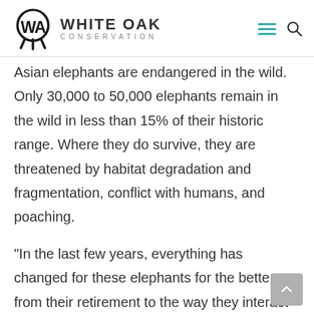WHITE OAK CONSERVATION
Asian elephants are endangered in the wild. Only 30,000 to 50,000 elephants remain in the wild in less than 15% of their historic range. Where they do survive, they are threatened by habitat degradation and fragmentation, conflict with humans, and poaching.
“In the last few years, everything has changed for these elephants for the better — from their retirement to the way they interact with humans and the space they